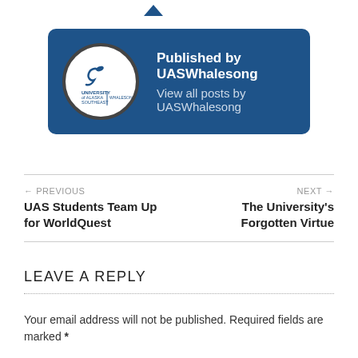[Figure (logo): UAS Whalesong author box with University of Alaska Southeast logo in circular frame on blue background. Shows 'Published by UASWhalesong' and 'View all posts by UASWhalesong']
← PREVIOUS
UAS Students Team Up for WorldQuest
NEXT →
The University's Forgotten Virtue
LEAVE A REPLY
Your email address will not be published. Required fields are marked *